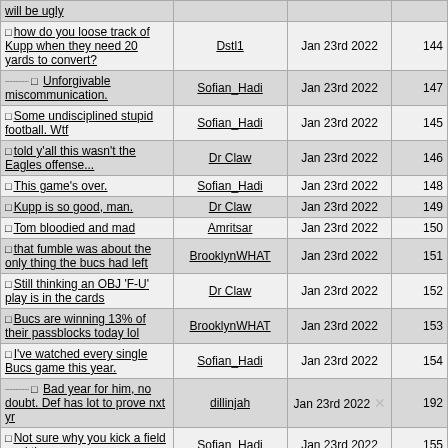| Post | Author | Date | Replies |
| --- | --- | --- | --- |
| will be ugly |  |  |  |
| how do you loose track of Kupp when they need 20 yards to convert? | Dstl1 | Jan 23rd 2022 | 144 |
| Unforgivable miscommunication. | Sofian_Hadi | Jan 23rd 2022 | 147 |
| Some undisciplined stupid football. Wtf | Sofian_Hadi | Jan 23rd 2022 | 145 |
| told y'all this wasn't the Eagles offense... | Dr Claw | Jan 23rd 2022 | 146 |
| This game's over. | Sofian_Hadi | Jan 23rd 2022 | 148 |
| Kupp is so good, man. | Dr Claw | Jan 23rd 2022 | 149 |
| Tom bloodied and mad | Amritsar | Jan 23rd 2022 | 150 |
| that fumble was about the only thing the bucs had left | BrooklynWHAT | Jan 23rd 2022 | 151 |
| Still thinking an OBJ 'F-U' play is in the cards | Dr Claw | Jan 23rd 2022 | 152 |
| Bucs are winning 13% of their passblocks today lol | BrooklynWHAT | Jan 23rd 2022 | 153 |
| I've watched every single Bucs game this year. | Sofian_Hadi | Jan 23rd 2022 | 154 |
| Bad year for him, no doubt. Def has lot to prove nxt yr | dillinjah | Jan 23rd 2022 | 192 |
| Not sure why you kick a field goal there. | Sofian_Hadi | Jan 23rd 2022 | 155 |